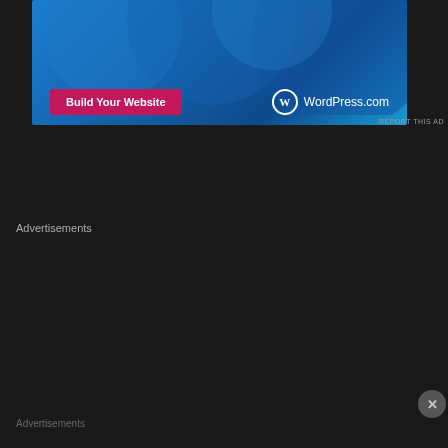[Figure (screenshot): WordPress.com advertisement banner with blue gradient background, circular shapes, pink 'Build Your Website' button, and WordPress.com logo]
REPORT THIS AD
Advertisements
[Figure (screenshot): Typeform-style survey advertisement with dark navy background, dot pattern, white bold text 'Create surveys, polls, quizzes, and forms.' and pink 'Start now' button]
Advertisements
[Figure (screenshot): DayOne journal app advertisement with light blue background, phone mockup, text 'Your Journal for life', and DayOne logo]